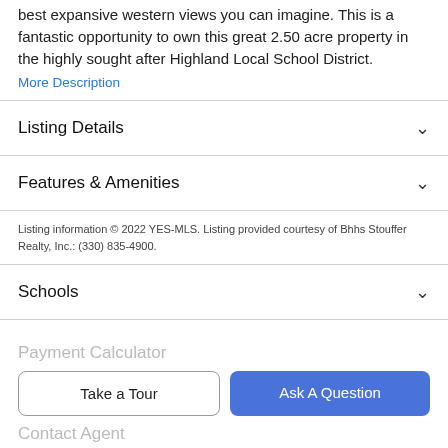best expansive western views you can imagine. This is a fantastic opportunity to own this great 2.50 acre property in the highly sought after Highland Local School District.
More Description
Listing Details
Features & Amenities
Listing information © 2022 YES-MLS. Listing provided courtesy of Bhhs Stouffer Realty, Inc.: (330) 835-4900.
Schools
Payment Calculator
Take a Tour
Ask A Question
Contact Agent